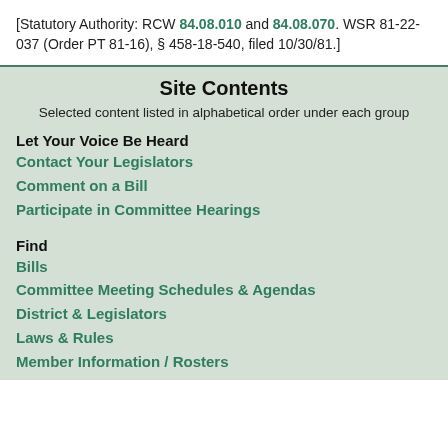[Statutory Authority: RCW 84.08.010 and 84.08.070. WSR 81-22-037 (Order PT 81-16), § 458-18-540, filed 10/30/81.]
Site Contents
Selected content listed in alphabetical order under each group
Let Your Voice Be Heard
Contact Your Legislators
Comment on a Bill
Participate in Committee Hearings
Find
Bills
Committee Meeting Schedules & Agendas
District & Legislators
Laws & Rules
Member Information / Rosters